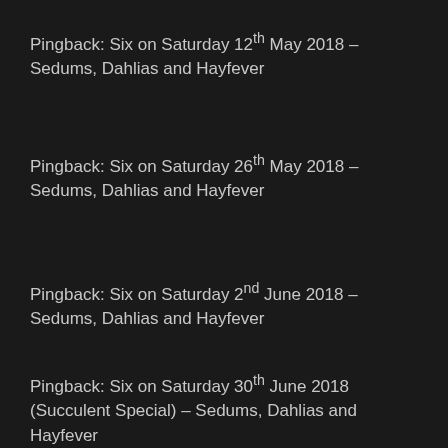Pingback: Six on Saturday 12th May 2018 – Sedums, Dahlias and Hayfever
Pingback: Six on Saturday 26th May 2018 – Sedums, Dahlias and Hayfever
Pingback: Six on Saturday 2nd June 2018 – Sedums, Dahlias and Hayfever
Pingback: Six on Saturday 30th June 2018 (Succulent Special) – Sedums, Dahlias and Hayfever